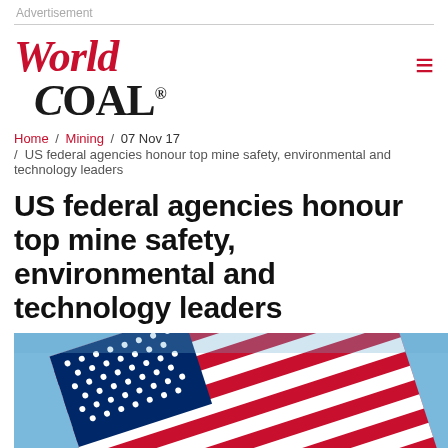Advertisement
[Figure (logo): World Coal magazine logo in red italic serif font]
Home / Mining / 07 Nov 17 / US federal agencies honour top mine safety, environmental and technology leaders
US federal agencies honour top mine safety, environmental and technology leaders
[Figure (photo): American flag photographed from below against a blue sky, showing red and white stripes and blue canton with white stars]